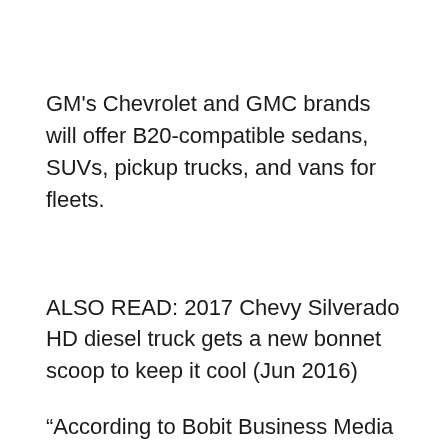GM's Chevrolet and GMC brands will offer B20-compatible sedans, SUVs, pickup trucks, and vans for fleets.
ALSO READ: 2017 Chevy Silverado HD diesel truck gets a new bonnet scoop to keep it cool (Jun 2016)
“According to Bobit Business Media statistics, all of the top 25 fleets use at least two fuels,” GM noted in